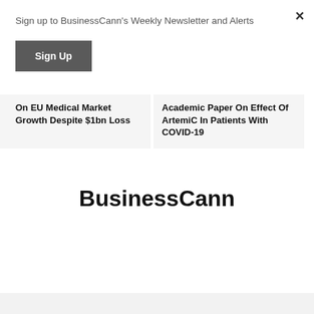Sign up to BusinessCann's Weekly Newsletter and Alerts
Sign Up
×
On EU Medical Market Growth Despite $1bn Loss
Academic Paper On Effect Of ArtemiC In Patients With COVID-19
BusinessCann